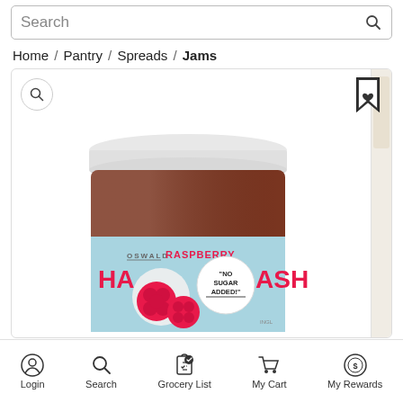[Figure (screenshot): Search bar at top of grocery app interface]
Home / Pantry / Spreads / Jams
[Figure (photo): Product image of Oswald Chia Raspberry No Sugar Added jam jar with light blue label, white lid, and raspberry imagery]
Login  Search  Grocery List  My Cart  My Rewards